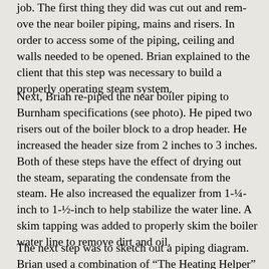job. The first thing they did was cut out and remove the near boiler piping, mains and risers. In order to access some of the piping, ceiling and walls needed to be opened. Brian explained to the client that this step was necessary to build a properly operating steam system.
Next, Brian re-piped the near boiler piping to Burnham specifications (see photo). He piped two risers out of the boiler block to a drop header. He increased the header size from 2 inches to 3 inches. Both of these steps have the effect of drying out the steam, separating the condensate from the steam. He also increased the equalizer from 1-¼-inch to 1-½-inch to help stabilize the water line. A skim tapping was added to properly skim the boiler water line to remove dirt and oil.
The next step was to sketch out a piping diagram. Brian used a combination of "The Heating Helper" published